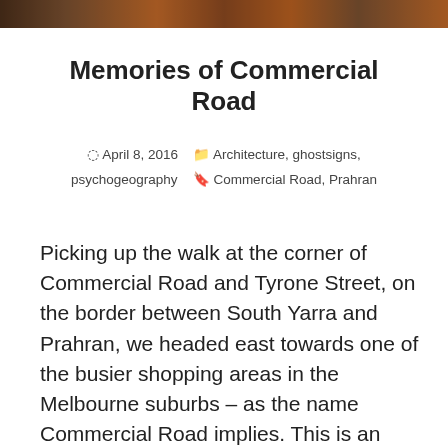[Figure (photo): Cropped top banner photo showing a street scene with buildings and a tram, warm brown and orange tones]
Memories of Commercial Road
April 8, 2016  Architecture, ghostsigns, psychogeography  Commercial Road, Prahran
Picking up the walk at the corner of Commercial Road and Tyrone Street, on the border between South Yarra and Prahran, we headed east towards one of the busier shopping areas in the Melbourne suburbs – as the name Commercial Road implies. This is an area where the past seems particularly alive. The area still contains many traces of former days, from Victorian buildings to art nouveau styling to ghostsigns.